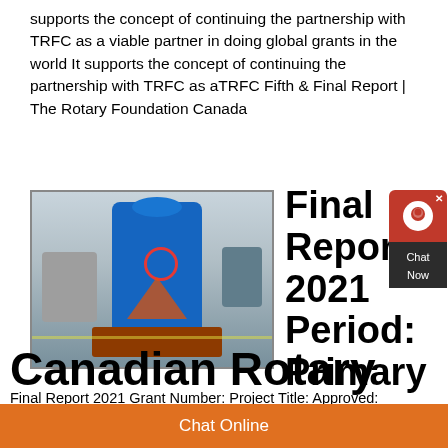supports the concept of continuing the partnership with TRFC as a viable partner in doing global grants in the world It supports the concept of continuing the partnership with TRFC as aTRFC Fifth & Final Report | The Rotary Foundation Canada
[Figure (photo): Industrial machinery — large blue cylindrical mill or grinder on a factory floor, with smaller machines around it]
Final Report 2021 Period: Primary Canadian Rotary
Final Report 2021 Grant Number: Project Title: Approved:
Chat Online